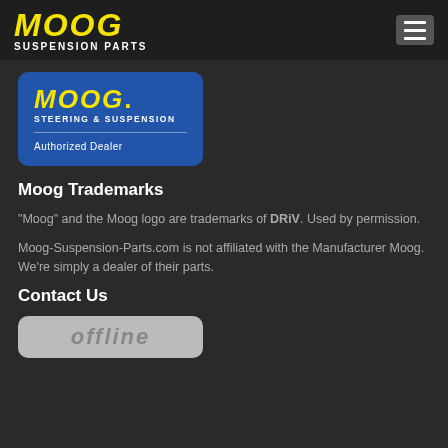MOOG SUSPENSION PARTS
[Figure (logo): MOOG Steering & Suspension Authorized Dealer badge on blue rounded rectangle background]
Moog Trademarks
"Moog" and the Moog logo are trademarks of DRiV. Used by permission.
Moog-Suspension-Parts.com is not affiliated with the Manufacturer Moog. We're simply a dealer of their parts.
Contact Us
[Figure (logo): Offline chat widget button with 'offline' text on grey rounded rectangle background]